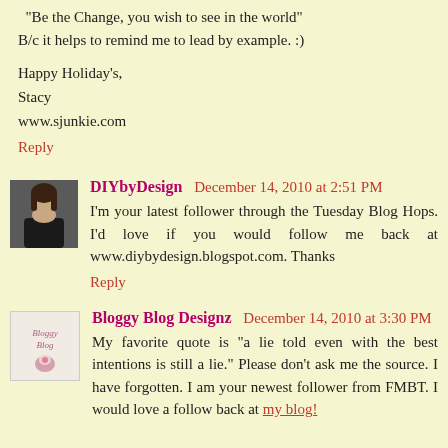"Be the Change, you wish to see in the world"
B/c it helps to remind me to lead by example. :)
Happy Holiday's,
Stacy
www.sjunkie.com
Reply
DIYbyDesign  December 14, 2010 at 2:51 PM
I'm your latest follower through the Tuesday Blog Hops. I'd love if you would follow me back at www.diybydesign.blogspot.com. Thanks
Reply
Bloggy Blog Designz  December 14, 2010 at 3:30 PM
My favorite quote is "a lie told even with the best intentions is still a lie." Please don't ask me the source. I have forgotten. I am your newest follower from FMBT. I would love a follow back at my blog!